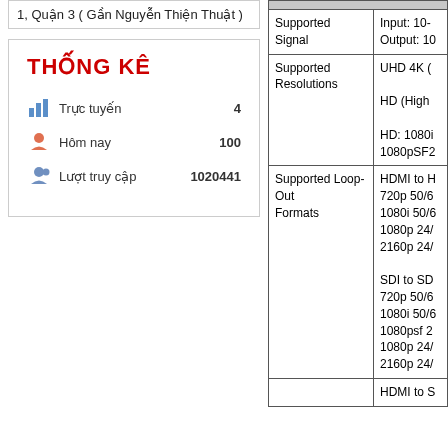1, Quận 3 ( Gần Nguyễn Thiện Thuật )
THỐNG KÊ
Trực tuyến   4
Hôm nay   100
Lượt truy cập   1020441
| Feature | Details |
| --- | --- |
| Supported Signal | Input: 10-
Output: 10 |
| Supported Resolutions | UHD 4K (

HD (High

HD: 1080i
1080pSF2 |
| Supported Loop-Out Formats | HDMI to H
720p 50/6
1080i 50/6
1080p 24/
2160p 24/

SDI to SD
720p 50/6
1080i 50/6
1080psf 2
1080p 24/
2160p 24/ |
|  | HDMI to S |